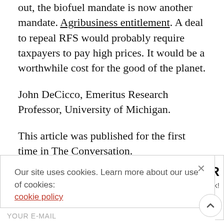out, the biofuel mandate is now another mandate. Agribusiness entitlement. A deal to repeal RFS would probably require taxpayers to pay high prices. It would be a worthwhile cost for the good of the planet.
John DeCicco, Emeritus Research Professor, University of Michigan.
This article was published for the first time in The Conversation.
Our site uses cookies. Learn more about our use of cookies: cookie policy
I ACCEPT USE OF COOKIES
.ETTER
ry week!
YOUR E-MAIL